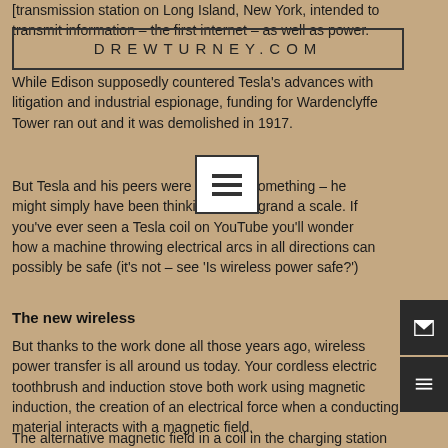DREWTURNEY.COM
[transmission station on Long Island, New York, intended to transmit information – the first internet – as well as power.
While Edison supposedly countered Tesla's advances with litigation and industrial espionage, funding for Wardenclyffe Tower ran out and it was demolished in 1917.
But Tesla and his peers were still onto something – he might simply have been thinking on too grand a scale. If you've ever seen a Tesla coil on YouTube you'll wonder how a machine throwing electrical arcs in all directions can possibly be safe (it's not – see 'Is wireless power safe?')
The new wireless
But thanks to the work done all those years ago, wireless power transfer is all around us today. Your cordless electric toothbrush and induction stove both work using magnetic induction, the creation of an electrical force when a conducting material interacts with a magnetic field.
The alternative magnetic field in a coil in the charging station generates a current in another coil in the toothbrush, which